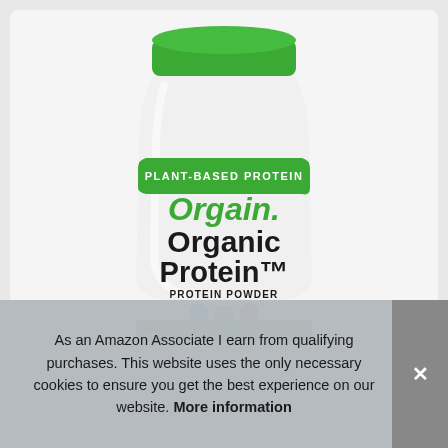[Figure (photo): Orgain Organic Protein plant-based protein powder tub with green cap and white body. Label reads: PLANT-BASED PROTEIN, Orgain, Organic Protein™, PROTEIN POWDER. Colorful flavor icons visible at bottom.]
As an Amazon Associate I earn from qualifying purchases. This website uses the only necessary cookies to ensure you get the best experience on our website. More information